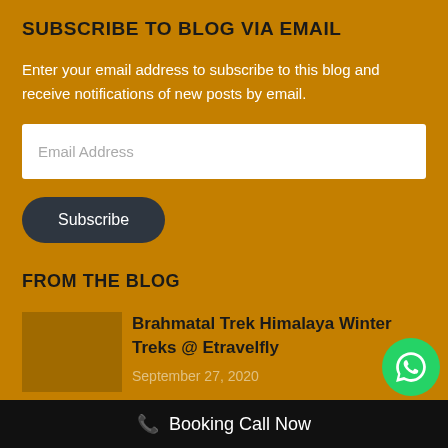SUBSCRIBE TO BLOG VIA EMAIL
Enter your email address to subscribe to this blog and receive notifications of new posts by email.
[Figure (screenshot): Email Address input field (white rectangle with placeholder text 'Email Address')]
[Figure (screenshot): Subscribe button (dark rounded pill-shaped button with 'Subscribe' text)]
FROM THE BLOG
Brahmatal Trek Himalaya Winter Treks @ Etravelfly
September 27, 2020
[Figure (logo): WhatsApp icon button (green circle with white WhatsApp logo)]
Booking Call Now